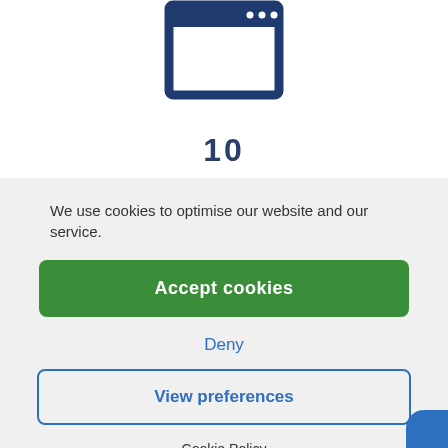[Figure (illustration): Browser window icon in dark navy blue, showing a rectangular window frame with three small dots in the top right corner representing a browser tab/window]
10
We use cookies to optimise our website and our service.
Accept cookies
Deny
View preferences
Cookie Policy